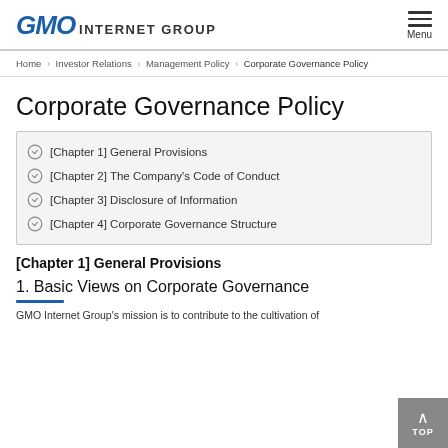GMO INTERNET GROUP
Home > Investor Relations > Management Policy > Corporate Governance Policy
Corporate Governance Policy
[Chapter 1] General Provisions
[Chapter 2] The Company's Code of Conduct
[Chapter 3] Disclosure of Information
[Chapter 4] Corporate Governance Structure
[Chapter 1] General Provisions
1. Basic Views on Corporate Governance
GMO Internet Group's mission is to contribute to the cultivation of